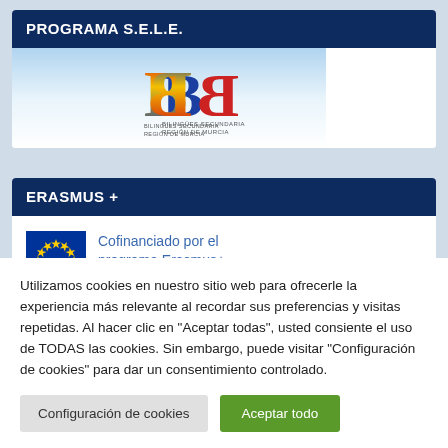PROGRAMA S.E.L.E.
[Figure (logo): BB Bilingües Secundaria Región de Murcia logo on a blue-to-white gradient background]
ERASMUS +
[Figure (logo): EU flag (blue circle of yellow stars) alongside text: Cofinanciado por el programa Erasmus+ de la Unión Europea]
Cofinanciado por el programa Erasmus+ de la Unión Europea
Utilizamos cookies en nuestro sitio web para ofrecerle la experiencia más relevante al recordar sus preferencias y visitas repetidas. Al hacer clic en "Aceptar todas", usted consiente el uso de TODAS las cookies. Sin embargo, puede visitar "Configuración de cookies" para dar un consentimiento controlado.
Configuración de cookies
Aceptar todo